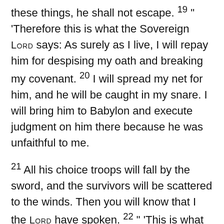these things, he shall not escape. 19 " 'Therefore this is what the Sovereign LORD says: As surely as I live, I will repay him for despising my oath and breaking my covenant. 20 I will spread my net for him, and he will be caught in my snare. I will bring him to Babylon and execute judgment on him there because he was unfaithful to me.
21 All his choice troops will fall by the sword, and the survivors will be scattered to the winds. Then you will know that I the LORD have spoken. 22 " 'This is what the Sovereign LORD says: I myself will take a shoot from the very top of a cedar and plant it; I will break off a tender sprig from its topmost shoots and plant it on a high and lofty mountain. 23 On the mountain heights of Israel I will plant it; it will produce branches and bear fruit and become a splendid cedar. Birds of every kind will nest in it; they will find shelter in the shade of its branches. 24 All